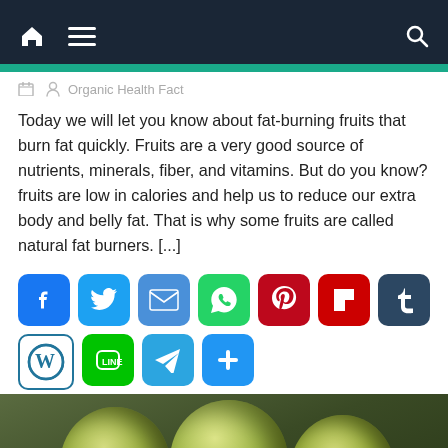Navigation bar with home, menu, and search icons
Organic Health Fact
Today we will let you know about fat-burning fruits that burn fat quickly. Fruits are a very good source of nutrients, minerals, fiber, and vitamins. But do you know? fruits are low in calories and help us to reduce our extra body and belly fat. That is why some fruits are called natural fat burners. [...]
[Figure (infographic): Social media sharing buttons: Facebook, Twitter, Email, WhatsApp, Pinterest, Flipboard, Tumblr, WordPress, Line, Telegram, and a share/add button]
[Figure (photo): Close-up photo of green/yellow fruits (likely gooseberries or similar) on a dark blurred background]